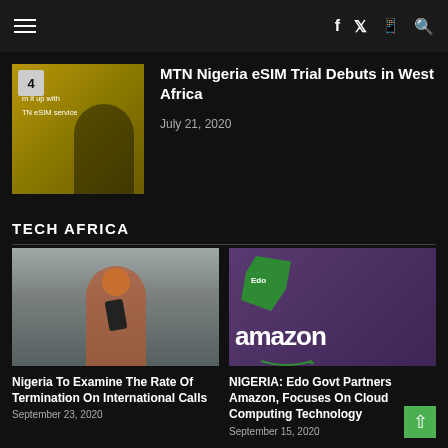Navigation bar with hamburger menu and social icons (f, twitter, WhatsApp, search)
[Figure (photo): MTN eSIM promotional image with woman and yellow background, numbered badge 4]
MTN Nigeria eSIM Trial Debuts in West Africa
July 21, 2020
TECH AFRICA
[Figure (photo): Woman smiling and looking at her smartphone, wearing orange top]
Nigeria To Examine The Rate Of Termination On International Calls
September 23, 2020
[Figure (photo): Amazon logo with green map of Edo state overlay on purple background]
NIGERIA: Edo Govt Partners Amazon, Focuses On Cloud Computing Technology
September 15, 2020